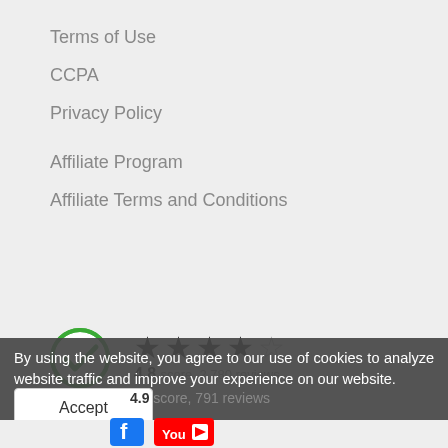Terms of Use
CCPA
Privacy Policy
Affiliate Program
Affiliate Terms and Conditions
[Figure (infographic): Green checkmark circle icon with 4.8 star rating (4 filled stars, 1 half star), score: 2,780 reviews]
4.8 score, 2,780 reviews
By using the website, you agree to our use of cookies to analyze website traffic and improve your experience on our website.
4.9 score, 791 reviews
Accept